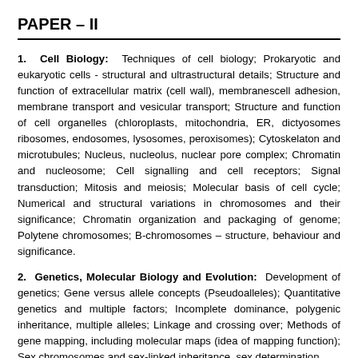PAPER – II
1. Cell Biology: Techniques of cell biology; Prokaryotic and eukaryotic cells - structural and ultrastructural details; Structure and function of extracellular matrix (cell wall), membranescell adhesion, membrane transport and vesicular transport; Structure and function of cell organelles (chloroplasts, mitochondria, ER, dictyosomes ribosomes, endosomes, lysosomes, peroxisomes); Cytoskelaton and microtubules; Nucleus, nucleolus, nuclear pore complex; Chromatin and nucleosome; Cell signalling and cell receptors; Signal transduction; Mitosis and meiosis; Molecular basis of cell cycle; Numerical and structural variations in chromosomes and their significance; Chromatin organization and packaging of genome; Polytene chromosomes; B-chromosomes – structure, behaviour and significance.
2. Genetics, Molecular Biology and Evolution: Development of genetics; Gene versus allele concepts (Pseudoalleles); Quantitative genetics and multiple factors; Incomplete dominance, polygenic inheritance, multiple alleles; Linkage and crossing over; Methods of gene mapping, including molecular maps (idea of mapping function); Sex chromosomes and sex-linked inheritance, sex determination